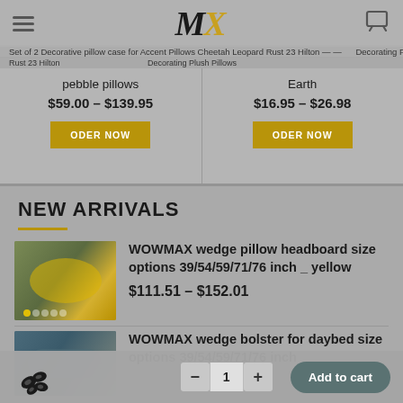MX logo, hamburger menu, cart icon
Set of 2 Decorative pillow case for Accent Pillows Cheetah Leopard Rust 23 Hilton — — (partial breadcrumb)
pebble pillows
$59.00 – $139.95
ODER NOW
Earth
$16.95 – $26.98
ODER NOW
NEW ARRIVALS
WOWMAX wedge pillow headboard size options 39/54/59/71/76 inch _ yellow
$111.51 – $152.01
WOWMAX wedge bolster for daybed size options 39/54/59/71/76 inch (partial)
Add to cart  −  1  +